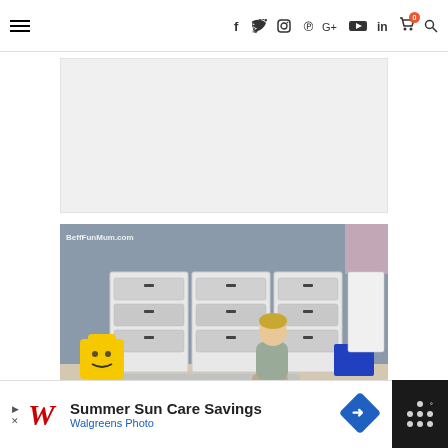Navigation bar with hamburger menu and social icons: f (Facebook), Twitter bird, Instagram, Pinterest, G+, YouTube, LinkedIn, cart (0), search
[Figure (photo): White/grey blank advertisement rectangle placeholder]
[Figure (photo): Boy sitting cross-legged on floor playing with LEGO bricks in front of IKEA Trofast storage unit with clear bins. Yellow LEGO head storage box on left. Blue storage bin on right. Watermark: BeffFunMum.com]
[Figure (infographic): Walgreens Photo advertisement banner: 'Summer Sun Care Savings' with Walgreens cursive logo, navigation arrow icon, and weather/temperature widget on right side]